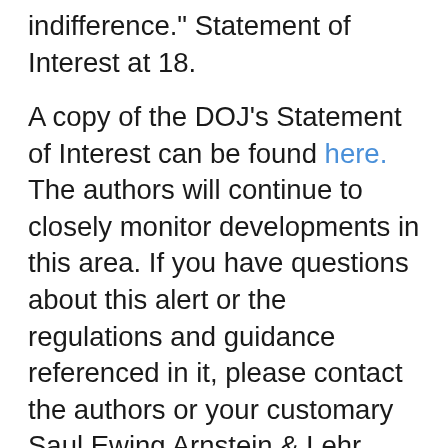indifference." Statement of Interest at 18.
A copy of the DOJ’s Statement of Interest can be found here. The authors will continue to closely monitor developments in this area. If you have questions about this alert or the regulations and guidance referenced in it, please contact the authors or your customary Saul Ewing Arnstein & Lehr point of contact.
The 9th Circuit decision relied heavily on the reasoning in Simpson v. Univ. of Colo. Boulder, 500 F.3d 1170, 1173 (10th Cir. 2007), a 10th Circuit case that did not